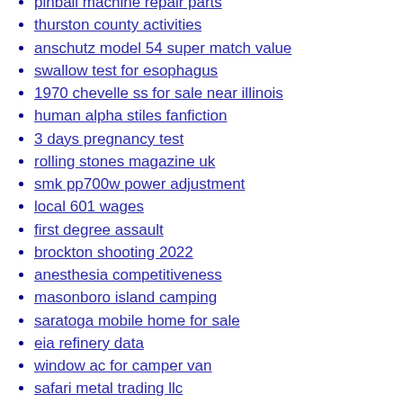pinball machine repair parts
thurston county activities
anschutz model 54 super match value
swallow test for esophagus
1970 chevelle ss for sale near illinois
human alpha stiles fanfiction
3 days pregnancy test
rolling stones magazine uk
smk pp700w power adjustment
local 601 wages
first degree assault
brockton shooting 2022
anesthesia competitiveness
masonboro island camping
saratoga mobile home for sale
eia refinery data
window ac for camper van
safari metal trading llc
20 ft flatbed trailer rental
nintendo switch keys download
rmp orange county
ipc module reset
mattapan apartments
cheap houses for sale in lake county ohio
josh och wedding